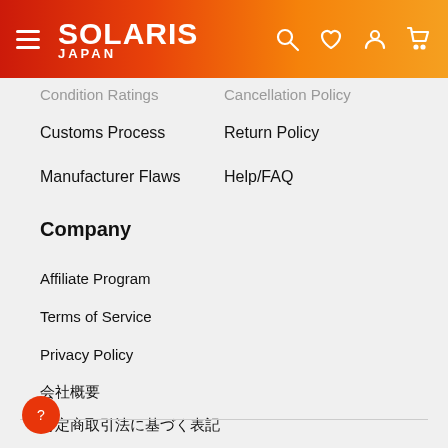SOLARIS JAPAN
Condition Ratings
Cancellation Policy
Customs Process
Return Policy
Manufacturer Flaws
Help/FAQ
Company
Affiliate Program
Terms of Service
Privacy Policy
会社概要
特定商取引法に基づく表記